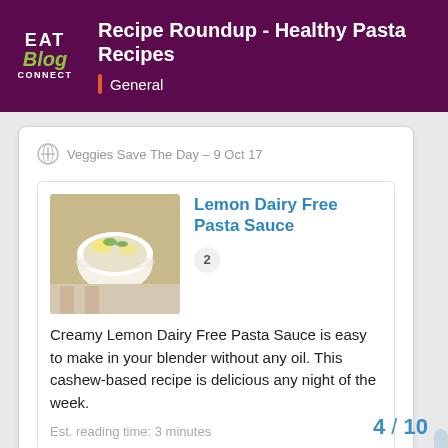EAT Blog CONNECT | Recipe Roundup - Healthy Pasta Recipes | General
Veggies Save The Day – 9 Oct 17
Lemon Dairy Free Pasta Sauce
Creamy Lemon Dairy Free Pasta Sauce is easy to make in your blender without any oil. This cashew-based recipe is delicious any night of the week.
Est. reading time: 3 minutes
1
4 / 10